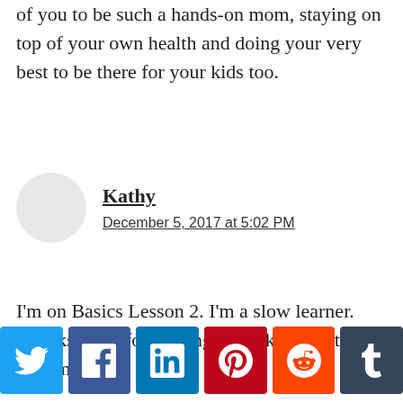of you to be such a hands-on mom, staying on top of your own health and doing your very best to be there for your kids too.
Kathy
December 5, 2017 at 5:02 PM
I’m on Basics Lesson 2. I’m a slow learner. Thanks, Cza, for reading and taking the time to comment!
[Figure (other): Social sharing buttons row: Twitter, Facebook, LinkedIn, Pinterest, Reddit, Tumblr]